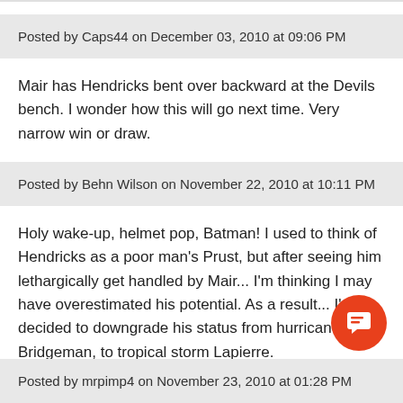Posted by Caps44 on December 03, 2010 at 09:06 PM
Mair has Hendricks bent over backward at the Devils bench. I wonder how this will go next time. Very narrow win or draw.
Posted by Behn Wilson on November 22, 2010 at 10:11 PM
Holy wake-up, helmet pop, Batman! I used to think of Hendricks as a poor man's Prust, but after seeing him lethargically get handled by Mair... I'm thinking I may have overestimated his potential. As a result... I've decided to downgrade his status from hurricane Bridgeman, to tropical storm Lapierre.
Posted by mrpimp4 on November 23, 2010 at 01:28 PM